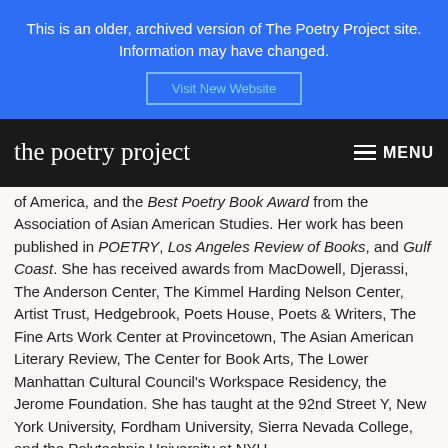This is an older, archived version of The Poetry Project site. Information may have changed.
Visit New Website
the poetry project  MENU
of America, and the Best Poetry Book Award from the Association of Asian American Studies. Her work has been published in POETRY, Los Angeles Review of Books, and Gulf Coast. She has received awards from MacDowell, Djerassi, The Anderson Center, The Kimmel Harding Nelson Center, Artist Trust, Hedgebrook, Poets House, Poets & Writers, The Fine Arts Work Center at Provincetown, The Asian American Literary Review, The Center for Book Arts, The Lower Manhattan Cultural Council's Workspace Residency, the Jerome Foundation. She has taught at the 92nd Street Y, New York University, Fordham University, Sierra Nevada College, and the Polytechnic University at NYU.